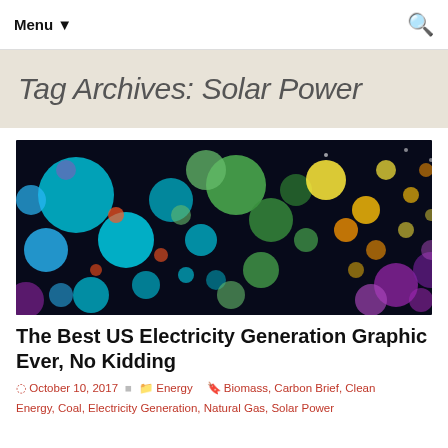Menu ▼
Tag Archives: Solar Power
[Figure (bubble-chart): Colorful bubble chart showing US electricity generation data with clusters of cyan, green, yellow, purple, and orange circles on a dark background representing different energy sources across US regions]
The Best US Electricity Generation Graphic Ever, No Kidding
October 10, 2017   Energy   Biomass, Carbon Brief, Clean Energy, Coal, Electricity Generation, Natural Gas, Solar Power